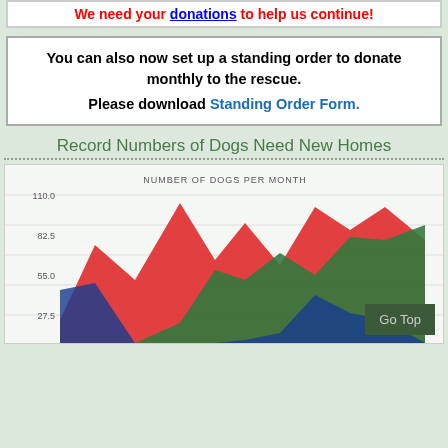We need your donations to help us continue!
You can also now set up a standing order to donate monthly to the rescue. Please download Standing Order Form.
Record Numbers of Dogs Need New Homes
[Figure (area-chart): Area chart showing number of dogs per month with three overlapping colored areas: red (top), green (middle), blue (bottom). Y-axis shows values 27.5, 55.0, 82.5, 110.0. The red area peaks around 100+ at multiple points. The chart is partially cut off at the bottom.]